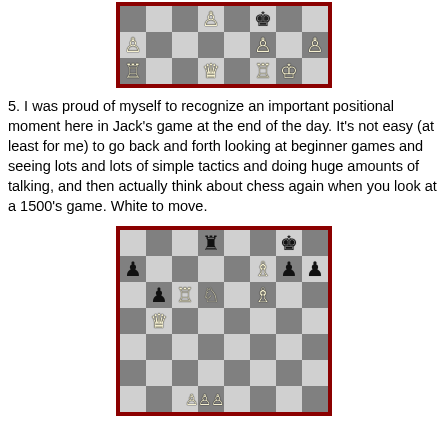[Figure (other): Chess board diagram (top partial) showing white and black pieces: white pawns, rooks, queen, king; black king visible. White to move position.]
5. I was proud of myself to recognize an important positional moment here in Jack's game at the end of the day. It's not easy (at least for me) to go back and forth looking at beginner games and seeing lots and lots of simple tactics and doing huge amounts of talking, and then actually think about chess again when you look at a 1500's game. White to move.
[Figure (other): Chess board diagram showing a position with black rook on d8, black king on g8, white bishop on g7, black pawns on a5, c5, f7, h6; white rook on d5, white knight on e5, white bishop on f5, white queen on d3; white pawns on bottom.]